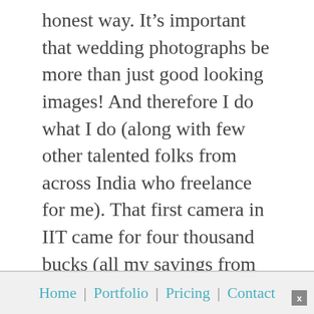honest way. It's important that wedding photographs be more than just good looking images! And therefore I do what I do (along with few other talented folks from across India who freelance for me). That first camera in IIT came for four thousand bucks (all my savings from the first three semesters). It was pretty shitty. But then, it was the start of a journey that has come a long way since.
Home | Portfolio | Pricing | Contact